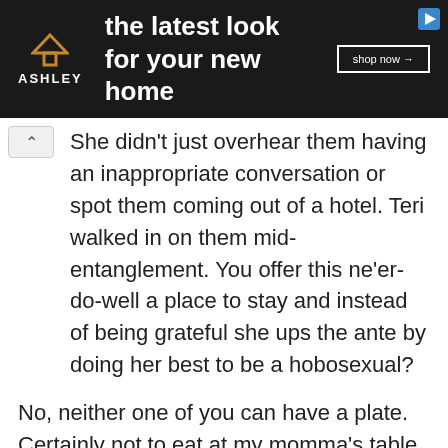[Figure (screenshot): Ashley Furniture advertisement banner: dark background with Ashley logo (orange house icon and ASHLEY text), tagline 'the latest look for your new home', and 'shop now →' button]
She didn't just overhear them having an inappropriate conversation or spot them coming out of a hotel. Teri walked in on them mid-entanglement. You offer this ne'er-do-well a place to stay and instead of being grateful she ups the ante by doing her best to be a hobosexual?
No, neither one of you can have a plate. Certainly not to eat at my momma's table or even in foil to go. All that fried chicken, fish, black-eyed peas, collards, and whatnot? Put it all back. Take all of the mayonnaise potato salad because it's disgusting, especially if Bird made it. I wouldn't even offer a drink of water. You better cup your hands and get some from the